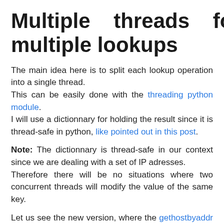Multiple threads for multiple lookups
The main idea here is to split each lookup operation into a single thread.
This can be easily done with the threading python module.
I will use a dictionnary for holding the result since it is thread-safe in python, like pointed out in this post.
Note: The dictionnary is thread-safe in our context since we are dealing with a set of IP adresses.
Therefore there will be no situations where two concurrent threads will modify the value of the same key.
Let us see the new version, where the gethostbyaddr is included into a threaded-class.
import sys